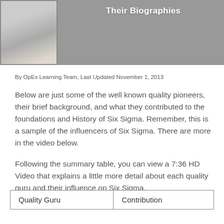[Figure (photo): Banner with photo of a person on the left and title 'Their Biographies' on grey background]
By OpEx Learning Team, Last Updated November 1, 2013
Below are just some of the well known quality pioneers, their brief background, and what they contributed to the foundations and History of Six Sigma. Remember, this is a sample of the influencers of Six Sigma. There are more in the video below.
Following the summary table, you can view a 7:36 HD Video that explains a little more detail about each quality guru and their influence on Six Sigma.
| Quality Guru | Contribution |
| --- | --- |